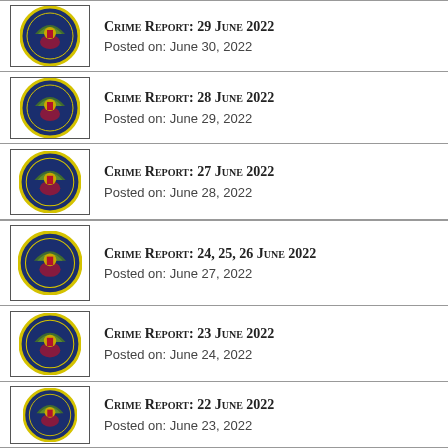Crime Report: 29 June 2022
Posted on: June 30, 2022
Crime Report: 28 June 2022
Posted on: June 29, 2022
Crime Report: 27 June 2022
Posted on: June 28, 2022
Crime Report: 24, 25, 26 June 2022
Posted on: June 27, 2022
Crime Report: 23 June 2022
Posted on: June 24, 2022
Crime Report: 22 June 2022
Posted on: June 23, 2022